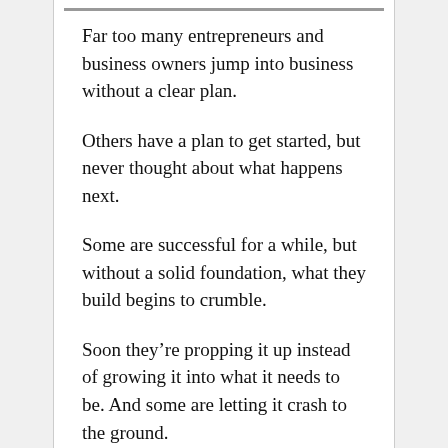Far too many entrepreneurs and business owners jump into business without a clear plan.
Others have a plan to get started, but never thought about what happens next.
Some are successful for a while, but without a solid foundation, what they build begins to crumble.
Soon they're propping it up instead of growing it into what it needs to be. And some are letting it crash to the ground.
It's time to end that